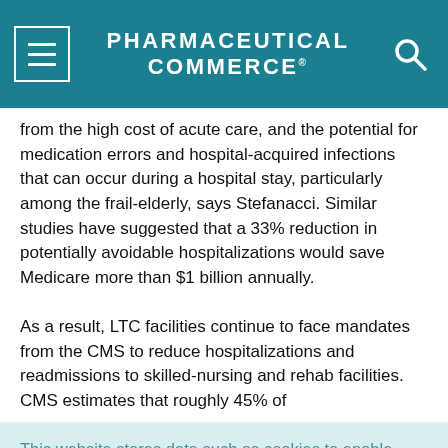PHARMACEUTICAL COMMERCE
from the high cost of acute care, and the potential for medication errors and hospital-acquired infections that can occur during a hospital stay, particularly among the frail-elderly, says Stefanacci. Similar studies have suggested that a 33% reduction in potentially avoidable hospitalizations would save Medicare more than $1 billion annually.

As a result, LTC facilities continue to face mandates from the CMS to reduce hospitalizations and readmissions to skilled-nursing and rehab facilities. CMS estimates that roughly 45% of
This website stores data such as cookies to enable essential site functionality, as well as marketing, personalization, and analytics. Cookie Policy
Accept
Deny